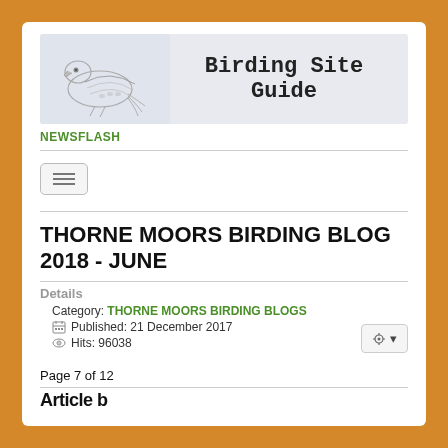[Figure (illustration): Birding Site Guide website header banner with a pencil sketch drawing of a falcon/kestrel bird on the left side and bold text 'Birding Site Guide' on the right side, on a light gray background]
NEWSFLASH
[Figure (screenshot): Navigation toggle button (hamburger menu) with three horizontal lines]
THORNE MOORS BIRDING BLOG 2018 - JUNE
Details
Category: THORNE MOORS BIRDING BLOGS
Published: 21 December 2017
Hits: 96038
Page 7 of 12